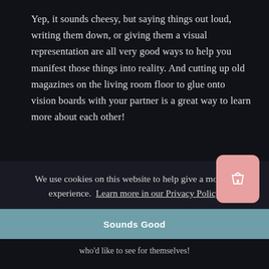Yep, it sounds cheesy, but saying things out loud, writing them down, or giving them a visual representation are all very good ways to help you manifest those things into reality. And cutting up old magazines on the living room floor to glue onto vision boards with your partner is a great way to learn more about each other!
36 QUESTIONS TO FOSTER CLOSENESS
We use cookies on this website to help give a modern experience.  Learn more in our Privacy Policy
Sounds Good
who'd like to see for themselves!